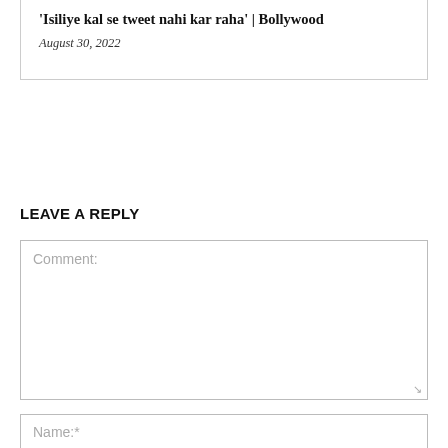'Isiliye kal se tweet nahi kar raha' | Bollywood
August 30, 2022
LEAVE A REPLY
Comment:
Name:*
Email:*